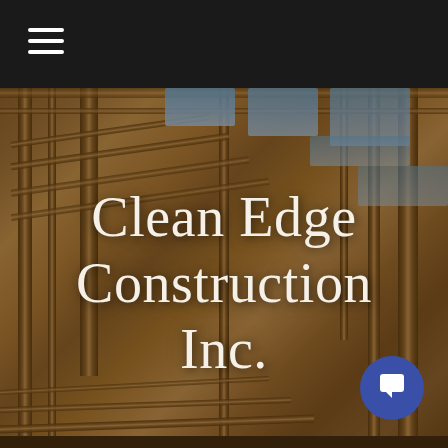≡ (hamburger menu)
[Figure (photo): Interior view of a building under construction showing wooden framing, studs, beams, and skylights with blue sky visible through the roof framing]
Clean Edge Construction Inc.